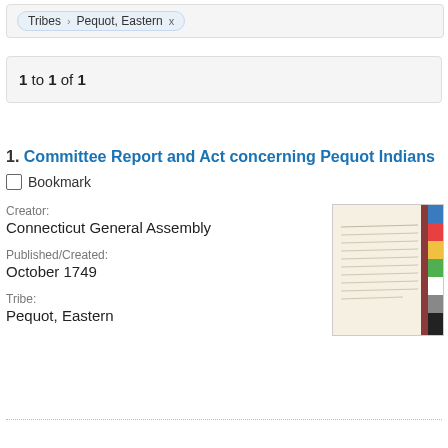Tribes › Pequot, Eastern  x
1 to 1 of 1
1. Committee Report and Act concerning Pequot Indians
Bookmark
Creator:
Connecticut General Assembly
Published/Created:
October 1749
Tribe:
Pequot, Eastern
[Figure (photo): Thumbnail image of a historical handwritten manuscript document page with color calibration strip on the right side]